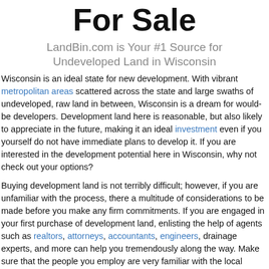For Sale
LandBin.com is Your #1 Source for Undeveloped Land in Wisconsin
Wisconsin is an ideal state for new development. With vibrant metropolitan areas scattered across the state and large swaths of undeveloped, raw land in between, Wisconsin is a dream for would-be developers. Development land here is reasonable, but also likely to appreciate in the future, making it an ideal investment even if you yourself do not have immediate plans to develop it. If you are interested in the development potential here in Wisconsin, why not check out your options?
Buying development land is not terribly difficult; however, if you are unfamiliar with the process, there a multitude of considerations to be made before you make any firm commitments. If you are engaged in your first purchase of development land, enlisting the help of agents such as realtors, attorneys, accountants, engineers, drainage experts, and more can help you tremendously along the way. Make sure that the people you employ are very familiar with the local market. This is especially true of any real estate professionals you choose to employ. Realtors who are familiar with the Wisconsin market can help guide you on the ins and outs of zoning